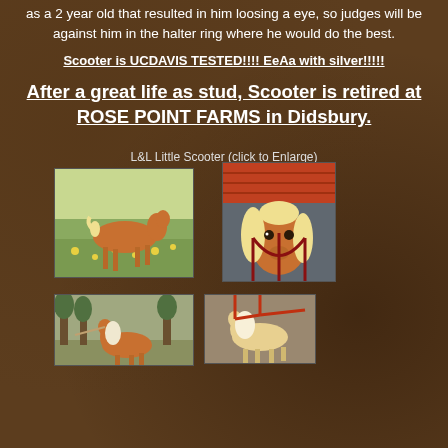as a 2 year old that resulted in him loosing a eye, so judges will be against him in the halter ring where he would do the best.
Scooter is UCDAVIS TESTED!!!! EeAa with silver!!!!!
After a great life as stud, Scooter is retired at ROSE POINT FARMS in Didsbury.
L&L Little Scooter (click to Enlarge)
[Figure (photo): Horse standing in a green field with yellow flowers]
[Figure (photo): Horse looking out from a barn/stable with a red halter]
[Figure (photo): Horse with white mane being led, trees in background]
[Figure (photo): Horse with white mane and red straps/harness]